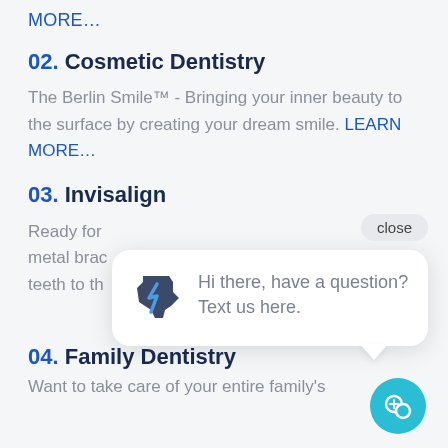LEARN MORE…
02. Cosmetic Dentistry
The Berlin Smile™ - Bringing your inner beauty to the surface by creating your dream smile. LEARN MORE…
03. Invisalign
Ready for [partially obscured] metal brac[kets] teeth to th[e…]
04. Family Dentistry
Want to take care of your entire family's
[Figure (screenshot): Chat popup with Texas state logo icon and text 'Hi there, have a question? Text us here.' with a close button and teal chat FAB button]